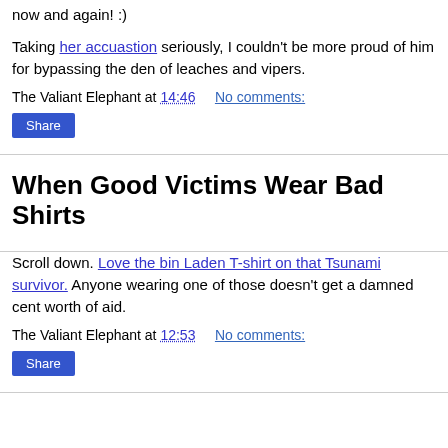now and again! :)
Taking her accuastion seriously, I couldn't be more proud of him for bypassing the den of leaches and vipers.
The Valiant Elephant at 14:46    No comments:
Share
When Good Victims Wear Bad Shirts
Scroll down. Love the bin Laden T-shirt on that Tsunami survivor. Anyone wearing one of those doesn't get a damned cent worth of aid.
The Valiant Elephant at 12:53    No comments:
Share